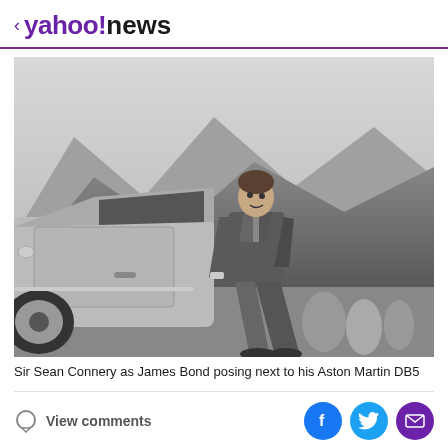< yahoo!news
[Figure (photo): Black and white photograph of Sir Sean Connery as James Bond, leaning against an Aston Martin DB5 on a mountain road with rocky peaks in the background.]
Sir Sean Connery as James Bond posing next to his Aston Martin DB5
View comments